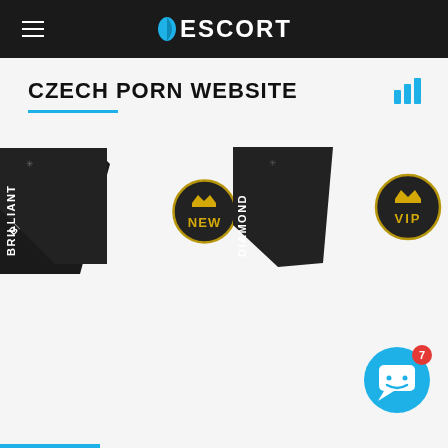ESCORT
CZECH PORN WEBSITE
[Figure (logo): Brilliant badge - dark triangular banner with text BRILLIANT and antler icon]
[Figure (logo): NEW circular badge - dark circle with gold crown and text NEW]
[Figure (logo): Diamond badge - dark triangular banner with text DIAMOND and antler icon]
[Figure (logo): VIP circular badge - dark circle with gold crown and text VIP]
[Figure (illustration): Blue chat button with smiley face icon and red notification badge showing 7]